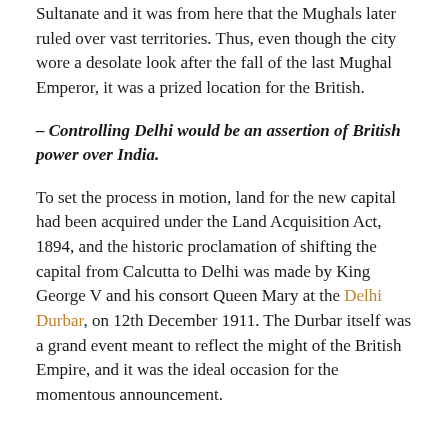Sultanate and it was from here that the Mughals later ruled over vast territories. Thus, even though the city wore a desolate look after the fall of the last Mughal Emperor, it was a prized location for the British.
– Controlling Delhi would be an assertion of British power over India.
To set the process in motion, land for the new capital had been acquired under the Land Acquisition Act, 1894, and the historic proclamation of shifting the capital from Calcutta to Delhi was made by King George V and his consort Queen Mary at the Delhi Durbar, on 12th December 1911. The Durbar itself was a grand event meant to reflect the might of the British Empire, and it was the ideal occasion for the momentous announcement.